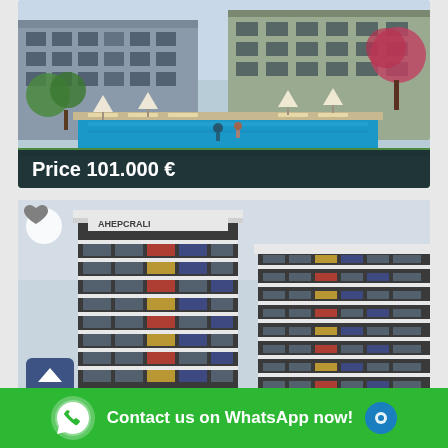[Figure (photo): Aerial view of a luxury residential apartment complex with a blue swimming pool, sun loungers with white umbrellas, lush green landscaping. Price overlay: Price 101.000 €]
Price 101.000 €
[Figure (photo): Modern multi-story apartment building with dark grey and white facade, balconies with colorful railings, sign reading AHEPCRAFT on top. Heart favorite button and up-arrow navigation button visible.]
Contact us on WhatsApp now!